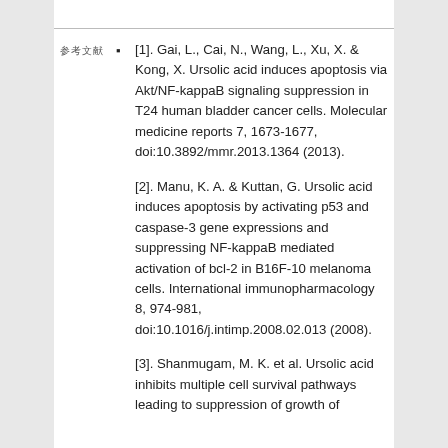参考文献
[1]. Gai, L., Cai, N., Wang, L., Xu, X. & Kong, X. Ursolic acid induces apoptosis via Akt/NF-kappaB signaling suppression in T24 human bladder cancer cells. Molecular medicine reports 7, 1673-1677, doi:10.3892/mmr.2013.1364 (2013).
[2]. Manu, K. A. & Kuttan, G. Ursolic acid induces apoptosis by activating p53 and caspase-3 gene expressions and suppressing NF-kappaB mediated activation of bcl-2 in B16F-10 melanoma cells. International immunopharmacology 8, 974-981, doi:10.1016/j.intimp.2008.02.013 (2008).
[3]. Shanmugam, M. K. et al. Ursolic acid inhibits multiple cell survival pathways leading to suppression of growth of